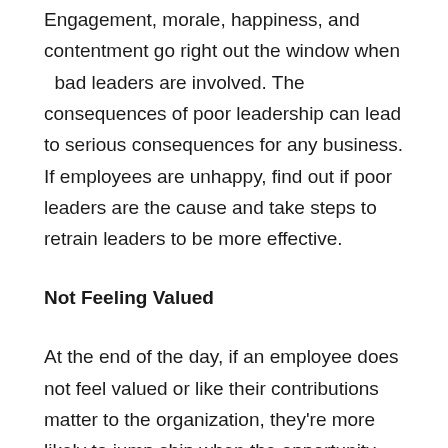Engagement, morale, happiness, and contentment go right out the window when  bad leaders are involved. The consequences of poor leadership can lead to serious consequences for any business. If employees are unhappy, find out if poor leaders are the cause and take steps to retrain leaders to be more effective.
Not Feeling Valued
At the end of the day, if an employee does not feel valued or like their contributions matter to the organization, they're more likely to jump ship when the opportunity arises. Thanking them for their work and letting them